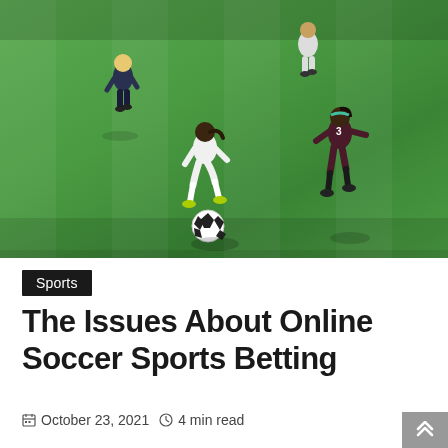[Figure (photo): Women's soccer match on a green grass field. Multiple players in dark maroon/navy uniforms and one player in white uniform competing for the ball. The ball is visible on the field. Bright sunny day with shadows visible.]
Sports
The Issues About Online Soccer Sports Betting
October 23, 2021   4 min read